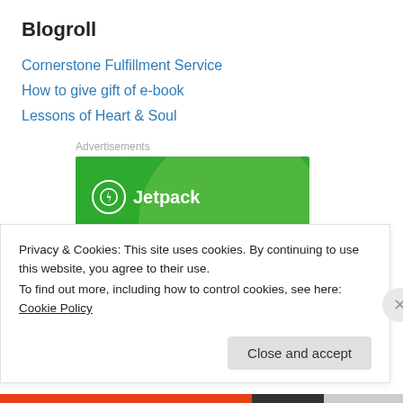Blogroll
Cornerstone Fulfillment Service
How to give gift of e-book
Lessons of Heart & Soul
Advertisements
[Figure (illustration): Jetpack advertisement banner on green background with lightning bolt logo, text reads 'We guard your WordPress site']
Privacy & Cookies: This site uses cookies. By continuing to use this website, you agree to their use.
To find out more, including how to control cookies, see here: Cookie Policy
Close and accept